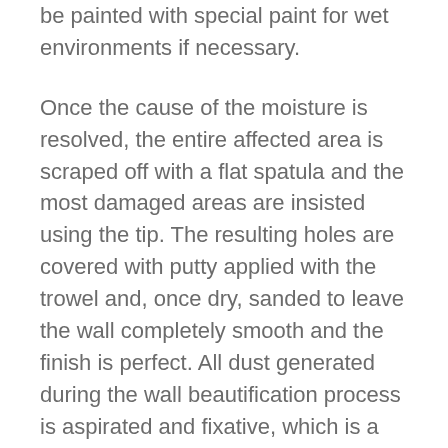be painted with special paint for wet environments if necessary.
Once the cause of the moisture is resolved, the entire affected area is scraped off with a flat spatula and the most damaged areas are insisted using the tip. The resulting holes are covered with putty applied with the trowel and, once dry, sanded to leave the wall completely smooth and the finish is perfect. All dust generated during the wall beautification process is aspirated and fixative, which is a moisture barrier product, is applied to consolidate the bottom.
The professional in charge of the reform will know which one is appropriate for each case. The stained area is painted with a paint